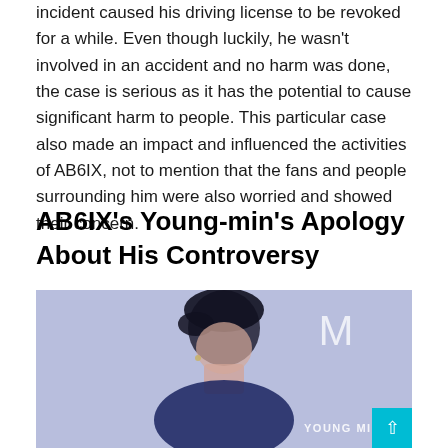incident caused his driving license to be revoked for a while. Even though luckily, he wasn't involved in an accident and no harm was done, the case is serious as it has the potential to cause significant harm to people. This particular case also made an impact and influenced the activities of AB6IX, not to mention that the fans and people surrounding him were also worried and showed their concern.
AB6IX's Young-min's Apology About His Controversy
[Figure (photo): Photo of AB6IX's Young-min against a purple/lavender background, with the text 'YOUNG MIN' and an 'M' logo watermark visible in the lower right corner.]